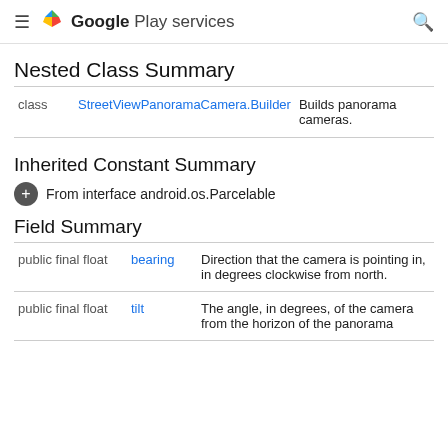Google Play services
Nested Class Summary
|  |  |  |
| --- | --- | --- |
| class | StreetViewPanoramaCamera.Builder | Builds panorama cameras. |
Inherited Constant Summary
+ From interface android.os.Parcelable
Field Summary
|  |  |  |
| --- | --- | --- |
| public final float | bearing | Direction that the camera is pointing in, in degrees clockwise from north. |
| public final float | tilt | The angle, in degrees, of the camera from the horizon of the panorama |